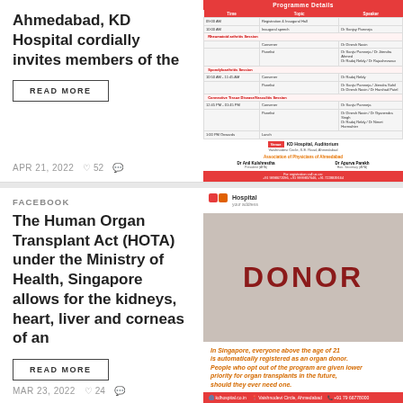Ahmedabad, KD Hospital cordially invites members of the
READ MORE
APR 21, 2022  52
[Figure (infographic): Program Details schedule table for KD Hospital event with red header, time/topic/speaker columns, venue info, Association of Physicians of Ahmedabad with Dr Anil Kulshrestha and Dr Apurva Parekh, and registration numbers]
FACEBOOK
The Human Organ Transplant Act (HOTA) under the Ministry of Health, Singapore allows for the kidneys, heart, liver and corneas of an
READ MORE
MAR 23, 2022  24
[Figure (infographic): KD Hospital organ donor awareness post showing wooden blocks spelling DONOR with italic orange text: In Singapore, everyone above the age of 21 is automatically registered as an organ donor. People who opt out of the program are given lower priority for organ transplants in the future, should they ever need one.]